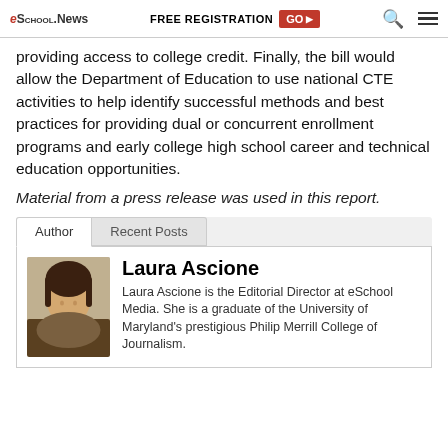eSchool News | FREE REGISTRATION GO ▶ 🔍 ≡
providing access to college credit. Finally, the bill would allow the Department of Education to use national CTE activities to help identify successful methods and best practices for providing dual or concurrent enrollment programs and early college high school career and technical education opportunities.
Material from a press release was used in this report.
Laura Ascione
Laura Ascione is the Editorial Director at eSchool Media. She is a graduate of the University of Maryland's prestigious Philip Merrill College of Journalism.